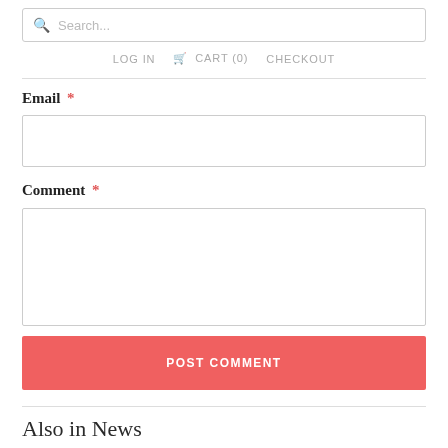Search...
LOG IN  CART (0)  CHECKOUT
Email *
Comment *
POST COMMENT
Also in News